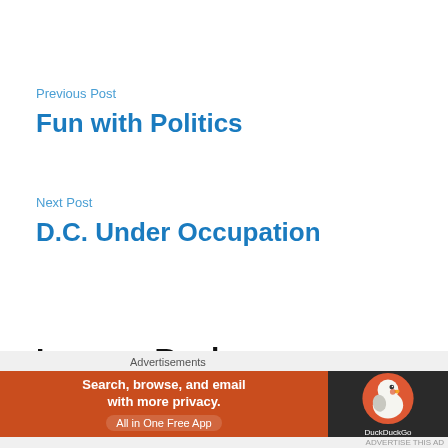Previous Post
Fun with Politics
Next Post
D.C. Under Occupation
Leave a Reply
[Figure (other): DuckDuckGo advertisement banner with orange section reading 'Search, browse, and email with more privacy. All in One Free App' and dark section with DuckDuckGo logo]